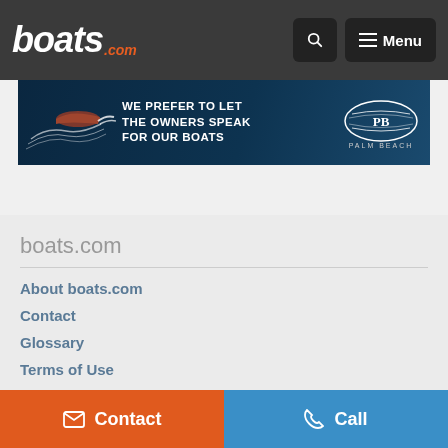boats.com — header with logo, search, and menu
[Figure (screenshot): Advertisement banner: WE PREFER TO LET THE OWNERS SPEAK FOR OUR BOATS — Palm Beach logo]
boats.com
About boats.com
Contact
Glossary
Terms of Use
Privacy
Cookies
Contact | Call